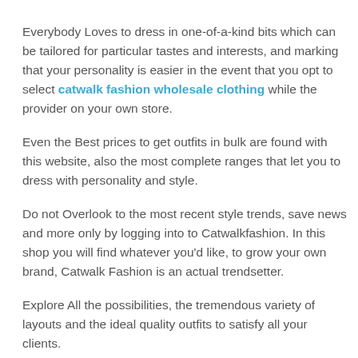Everybody Loves to dress in one-of-a-kind bits which can be tailored for particular tastes and interests, and marking that your personality is easier in the event that you opt to select catwalk fashion wholesale clothing while the provider on your own store.
Even the Best prices to get outfits in bulk are found with this website, also the most complete ranges that let you to dress with personality and style.
Do not Overlook to the most recent style trends, save news and more only by logging into to Catwalkfashion. In this shop you will find whatever you'd like, to grow your own brand, Catwalk Fashion is an actual trendsetter.
Explore All the possibilities, the tremendous variety of layouts and the ideal quality outfits to satisfy all your clients.